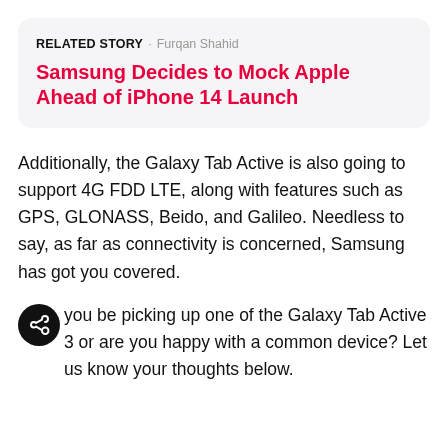RELATED STORY · Furqan Shahid
Samsung Decides to Mock Apple Ahead of iPhone 14 Launch
Additionally, the Galaxy Tab Active is also going to support 4G FDD LTE, along with features such as GPS, GLONASS, Beido, and Galileo. Needless to say, as far as connectivity is concerned, Samsung has got you covered.
Will you be picking up one of the Galaxy Tab Active 3 or are you happy with a common device? Let us know your thoughts below.